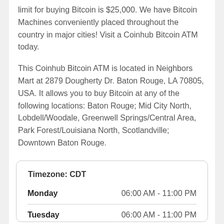limit for buying Bitcoin is $25,000. We have Bitcoin Machines conveniently placed throughout the country in major cities! Visit a Coinhub Bitcoin ATM today.
This Coinhub Bitcoin ATM is located in Neighbors Mart at 2879 Dougherty Dr. Baton Rouge, LA 70805, USA. It allows you to buy Bitcoin at any of the following locations: Baton Rouge; Mid City North, Lobdell/Woodale, Greenwell Springs/Central Area, Park Forest/Louisiana North, Scotlandville; Downtown Baton Rouge.
| Timezone: CDT |  |
| --- | --- |
| Monday | 06:00 AM - 11:00 PM |
| Tuesday | 06:00 AM - 11:00 PM |